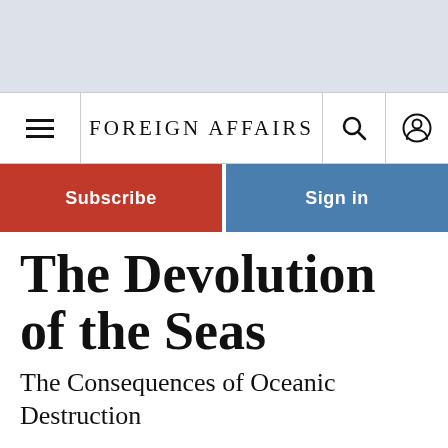FOREIGN AFFAIRS
The Devolution of the Seas
The Consequences of Oceanic Destruction
By Alan B. Sielen
November/December